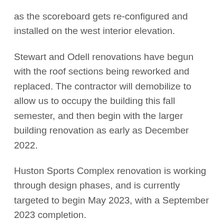as the scoreboard gets re-configured and installed on the west interior elevation.
Stewart and Odell renovations have begun with the roof sections being reworked and replaced. The contractor will demobilize to allow us to occupy the building this fall semester, and then begin with the larger building renovation as early as December 2022.
Huston Sports Complex renovation is working through design phases, and is currently targeted to begin May 2023, with a September 2023 completion.